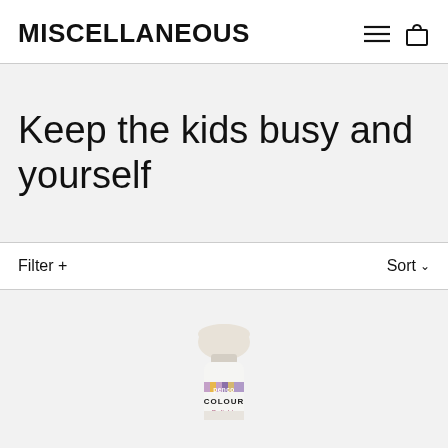MISCELLANEOUS
Keep the kids busy and yourself
Filter +
Sort
[Figure (photo): A small Penco Colour Delights paint or ink bottle with a rounded white cap, showing colorful stripes on the label, placed on a light grey background.]